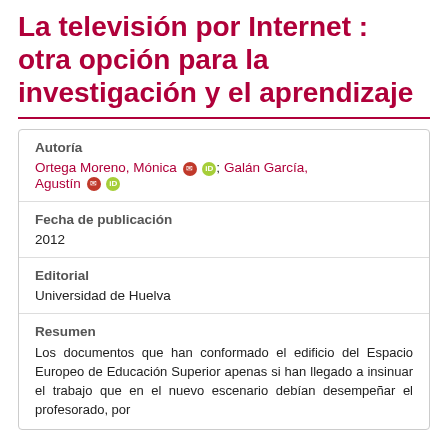La televisión por Internet : otra opción para la investigación y el aprendizaje
| Autoría | Ortega Moreno, Mónica; Galán García, Agustín |
| Fecha de publicación | 2012 |
| Editorial | Universidad de Huelva |
| Resumen | Los documentos que han conformado el edificio del Espacio Europeo de Educación Superior apenas si han llegado a insinuar el trabajo que en el nuevo escenario debían desempeñar el profesorado, por |